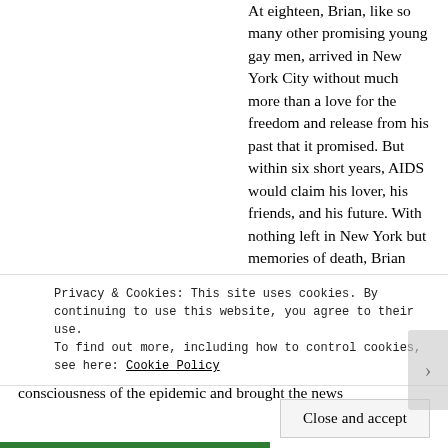At eighteen, Brian, like so many other promising young gay men, arrived in New York City without much more than a love for the freedom and release from his past that it promised. But within six short years, AIDS would claim his lover, his friends, and his future. With nothing left in New York but memories of death, Brian decides to write his mother a letter asking to come back to the place, and family, he was once so desperate to escape.
Set in 1986, a year after Rock Hudson's death shifted the public consciousness of the epidemic and brought the news
Privacy & Cookies: This site uses cookies. By continuing to use this website, you agree to their use.
To find out more, including how to control cookies, see here: Cookie Policy
Close and accept